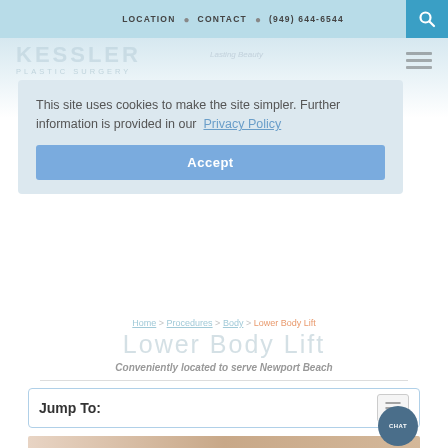LOCATION   CONTACT   (949) 644-6544
This site uses cookies to make the site simpler. Further information is provided in our  Privacy Policy
Accept
Home > Procedures > Body > Lower Body Lift
Lower Body Lift
Conveniently located to serve Newport Beach
Jump To:
[Figure (photo): Photo of a person's torso/midsection used for lower body lift procedure page]